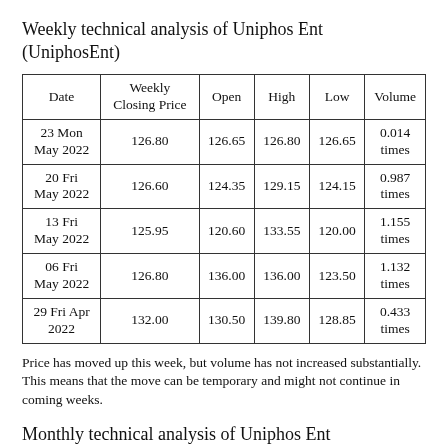Weekly technical analysis of Uniphos Ent (UniphosEnt)
| Date | Weekly Closing Price | Open | High | Low | Volume |
| --- | --- | --- | --- | --- | --- |
| 23 Mon May 2022 | 126.80 | 126.65 | 126.80 | 126.65 | 0.014 times |
| 20 Fri May 2022 | 126.60 | 124.35 | 129.15 | 124.15 | 0.987 times |
| 13 Fri May 2022 | 125.95 | 120.60 | 133.55 | 120.00 | 1.155 times |
| 06 Fri May 2022 | 126.80 | 136.00 | 136.00 | 123.50 | 1.132 times |
| 29 Fri Apr 2022 | 132.00 | 130.50 | 139.80 | 128.85 | 0.433 times |
Price has moved up this week, but volume has not increased substantially. This means that the move can be temporary and might not continue in coming weeks.
Monthly technical analysis of Uniphos Ent (UniphosEnt)